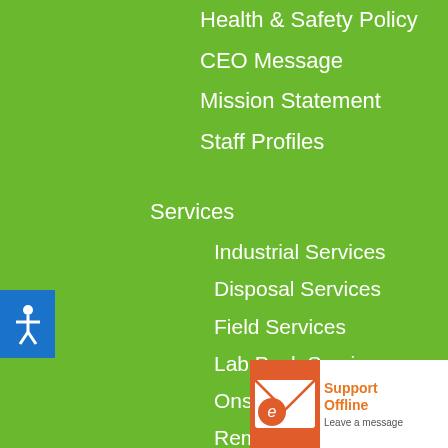Health & Safety Policy
CEO Message
Mission Statement
Staff Profiles
Services
Industrial Services
Disposal Services
Field Services
Lab Pack Services
Onsite Services
Remediation Services
Emergency Response
[Figure (screenshot): Support widget showing envelope icon and 'Support Offline - Leave a message' text]